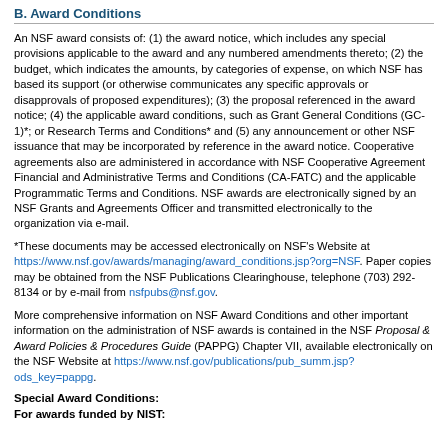B. Award Conditions
An NSF award consists of: (1) the award notice, which includes any special provisions applicable to the award and any numbered amendments thereto; (2) the budget, which indicates the amounts, by categories of expense, on which NSF has based its support (or otherwise communicates any specific approvals or disapprovals of proposed expenditures); (3) the proposal referenced in the award notice; (4) the applicable award conditions, such as Grant General Conditions (GC-1)*; or Research Terms and Conditions* and (5) any announcement or other NSF issuance that may be incorporated by reference in the award notice. Cooperative agreements also are administered in accordance with NSF Cooperative Agreement Financial and Administrative Terms and Conditions (CA-FATC) and the applicable Programmatic Terms and Conditions. NSF awards are electronically signed by an NSF Grants and Agreements Officer and transmitted electronically to the organization via e-mail.
*These documents may be accessed electronically on NSF's Website at https://www.nsf.gov/awards/managing/award_conditions.jsp?org=NSF. Paper copies may be obtained from the NSF Publications Clearinghouse, telephone (703) 292-8134 or by e-mail from nsfpubs@nsf.gov.
More comprehensive information on NSF Award Conditions and other important information on the administration of NSF awards is contained in the NSF Proposal & Award Policies & Procedures Guide (PAPPG) Chapter VII, available electronically on the NSF Website at https://www.nsf.gov/publications/pub_summ.jsp?ods_key=pappg.
Special Award Conditions:
For awards funded by NIST: